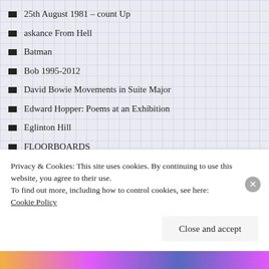25th August 1981 – count Up
askance From Hell
Batman
Bob 1995-2012
David Bowie Movements in Suite Major
Edward Hopper: Poems at an Exhibition
Eglinton Hill
FLOORBOARDS
Granada
in and out / the Avebury stones / can't seem to get / a signal …
Lapping Reflections [Deep Within Waters]
Miller's Batman
mum
Privacy & Cookies: This site uses cookies. By continuing to use this website, you agree to their use.
To find out more, including how to control cookies, see here: Cookie Policy
Close and accept